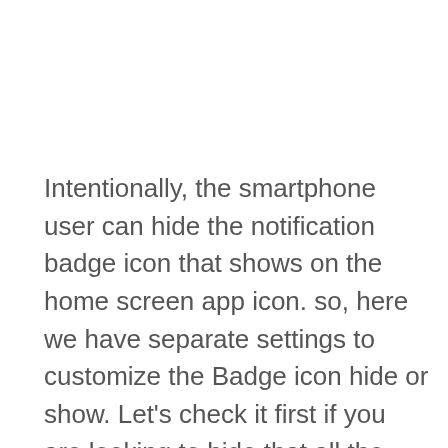Intentionally, the smartphone user can hide the notification badge icon that shows on the home screen app icon. so, here we have separate settings to customize the Badge icon hide or show. Let’s check it first if you are looking to hide that all the time.
But Wait, if you want a clear notification badge number without hiding from settings,